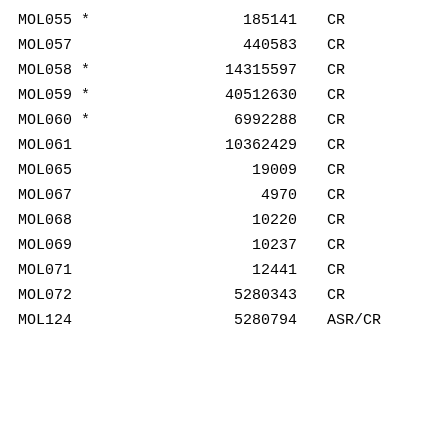| MOL ID | Number | Type |
| --- | --- | --- |
| MOL055 * | 185141 | CR |
| MOL057 | 440583 | CR |
| MOL058 * | 14315597 | CR |
| MOL059 * | 40512630 | CR |
| MOL060 * | 6992288 | CR |
| MOL061 | 10362429 | CR |
| MOL065 | 19009 | CR |
| MOL067 | 4970 | CR |
| MOL068 | 10220 | CR |
| MOL069 | 10237 | CR |
| MOL071 | 12441 | CR |
| MOL072 | 5280343 | CR |
| MOL124 | 5280794 | ASR/CR |